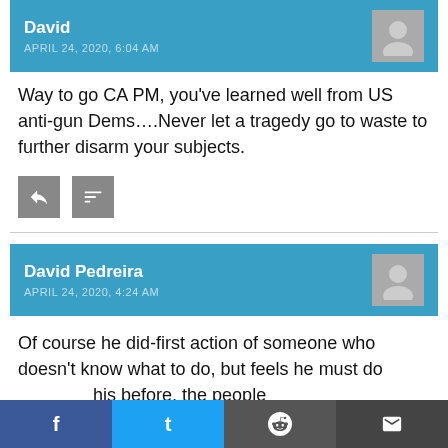David — APRIL 24, 2020, 6:04 AM
Way to go CA PM, you've learned well from US anti-gun Dems….Never let a tragedy go to waste to further disarm your subjects.
David Pedreira — APRIL 24, 2020, 4:24 AM
Of course he did-first action of someone who doesn't know what to do, but feels he must do his before, the people